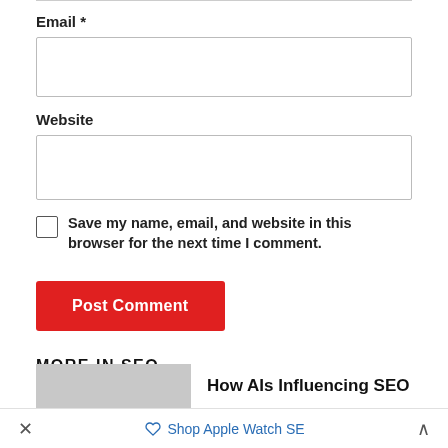Email *
[Figure (screenshot): Empty email text input field]
Website
[Figure (screenshot): Empty website text input field]
Save my name, email, and website in this browser for the next time I comment.
Post Comment
MORE IN SEO
How AIs Influencing SEO
Shop Apple Watch SE